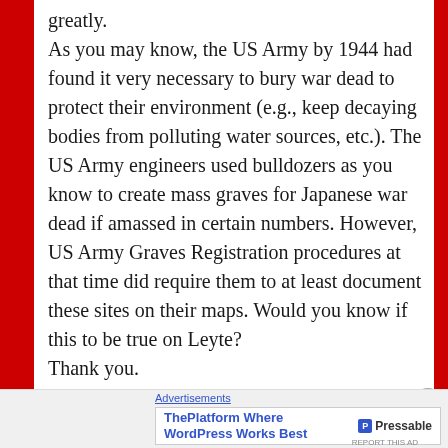greatly. As you may know, the US Army by 1944 had found it very necessary to bury war dead to protect their environment (e.g., keep decaying bodies from polluting water sources, etc.). The US Army engineers used bulldozers as you know to create mass graves for Japanese war dead if amassed in certain numbers. However, US Army Graves Registration procedures at that time did require them to at least document these sites on their maps. Would you know if this to be true on Leyte? Thank you.
[Figure (other): Advertisement banner: 'ThePlatform Where WordPress Works Best' by Pressable]